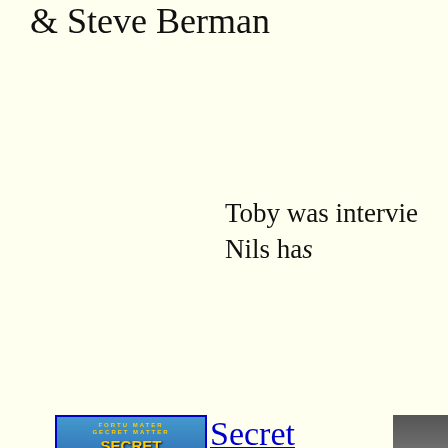& Steve Berman
Toby was intervie
Nils has
[Figure (photo): Book cover of 'Secret Matter' by Toby Johnson, showing a blue science fiction themed cover with gold text]
Secret Matter
Lammy Award Winner for Gay Science Fiction. Updated for the 21st
[Figure (photo): Partial photograph on the right side of the page showing an interior room or ceiling]